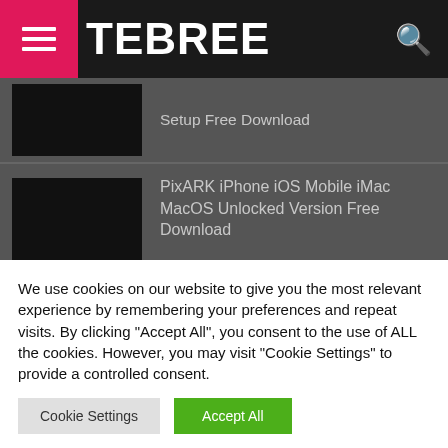TEBREE
Setup Free Download
PixARK iPhone iOS Mobile iMac MacOS Unlocked Version Free Download
PixARK Xbox One Series X Version Full Game Setup Free Download
We use cookies on our website to give you the most relevant experience by remembering your preferences and repeat visits. By clicking "Accept All", you consent to the use of ALL the cookies. However, you may visit "Cookie Settings" to provide a controlled consent.
Cookie Settings | Accept All